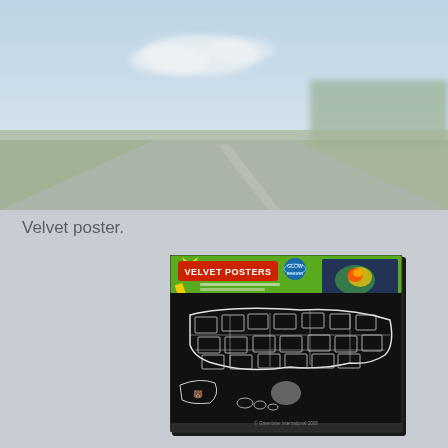[Figure (photo): Blurred background photo of a road/highway with blue sky, clouds, green trees and fields on either side, taken from driver's perspective]
Velvet poster.
[Figure (photo): Photograph of a Velvet Posters product package showing a USA map coloring poster with black velvet background and white outlines of state illustrations. The package has a green and yellow header reading 'VELVET POSTERS' with a sample completed colorful poster shown in the upper right corner. Bottom text reads '© Greenbrier International 2008'.]